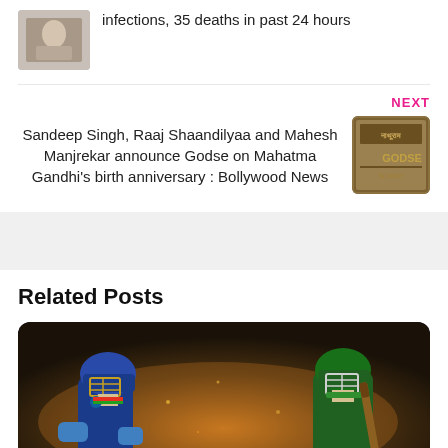infections, 35 deaths in past 24 hours
NEXT
Sandeep Singh, Raaj Shaandilyaa and Mahesh Manjrekar announce Godse on Mahatma Gandhi's birth anniversary : Bollywood News
Related Posts
[Figure (photo): Two cricket players facing each other in batting helmets, one in blue India kit and one in green Pakistan kit, dramatic golden light background]